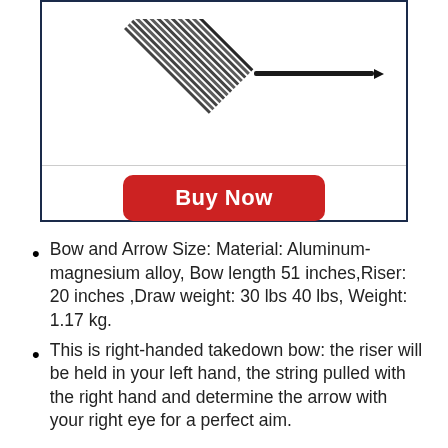[Figure (photo): Product image of a bow and arrows, shown at an angle against white background, partially cropped at top]
Buy Now
Bow and Arrow Size: Material: Aluminum-magnesium alloy, Bow length 51 inches,Riser: 20 inches ,Draw weight: 30 lbs 40 lbs, Weight: 1.17 kg.
This is right-handed takedown bow: the riser will be held in your left hand, the string pulled with the right hand and determine the arrow with your right eye for a perfect aim.